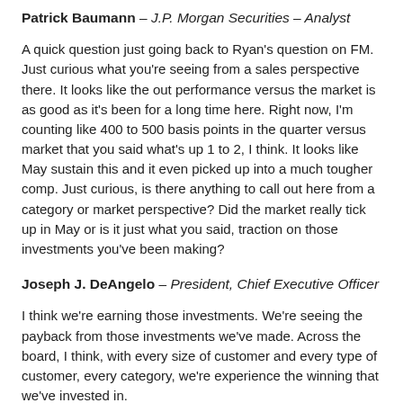Patrick Baumann – J.P. Morgan Securities – Analyst
A quick question just going back to Ryan's question on FM. Just curious what you're seeing from a sales perspective there. It looks like the out performance versus the market is as good as it's been for a long time here. Right now, I'm counting like 400 to 500 basis points in the quarter versus market that you said what's up 1 to 2, I think. It looks like May sustain this and it even picked up into a much tougher comp. Just curious, is there anything to call out here from a category or market perspective? Did the market really tick up in May or is it just what you said, traction on those investments you've been making?
Joseph J. DeAngelo – President, Chief Executive Officer
I think we're earning those investments. We're seeing the payback from those investments we've made. Across the board, I think, with every size of customer and every type of customer, every category, we're experience the winning that we've invested in.